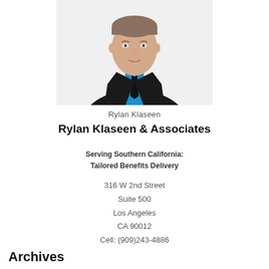[Figure (photo): Professional headshot of a man in a black suit with a blue shirt and black tie, white background]
Rylan Klaseen
Rylan Klaseen & Associates
Serving Southern California:
Tailored Benefits Delivery
316 W 2nd Street
Suite 500
Los Angeles
CA 90012
Cell: (909)243-4886
Archives